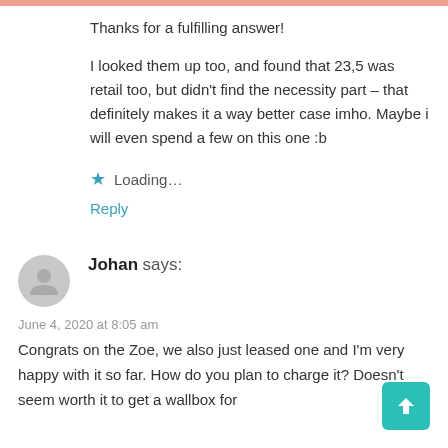Thanks for a fulfilling answer!
I looked them up too, and found that 23,5 was retail too, but didn't find the necessity part – that definitely makes it a way better case imho. Maybe i will even spend a few on this one :b
★ Loading…
Reply
Johan says:
June 4, 2020 at 8:05 am
Congrats on the Zoe, we also just leased one and I'm very happy with it so far. How do you plan to charge it? Doesn't seem worth it to get a wallbox for